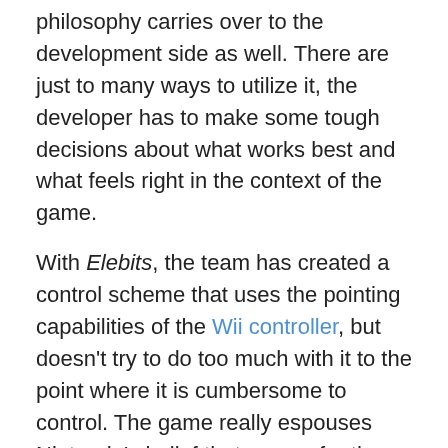philosophy carries over to the development side as well. There are just to many ways to utilize it, the developer has to make some tough decisions about what works best and what feels right in the context of the game.
With Elebits, the team has created a control scheme that uses the pointing capabilities of the Wii controller, but doesn't try to do too much with it to the point where it is cumbersome to control. The game really espouses Nintendo's belief that games for the Wii should be intuitive and easy to control.
Aaron: Elebits comes to the new system as one of the few new properties on the Nintendo Wii. How did the unique concept of the Elebit creatures come about?
Dennis: Since the Wii is a new system that is so different from all the other consoles, it made sense for us to have